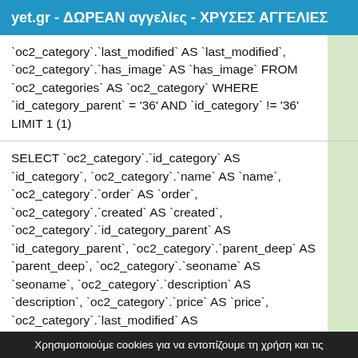yet.gr - ΔΩΡΕΑΝ αγγελίες - ΧΡΥΣΕΣ ΑΓΓΕΛΙΕΣ
`oc2_category`.`last_modified` AS `last_modified`, `oc2_category`.`has_image` AS `has_image` FROM `oc2_categories` AS `oc2_category` WHERE `id_category_parent` = '36' AND `id_category` != '36' LIMIT 1 (1)
SELECT `oc2_category`.`id_category` AS `id_category`, `oc2_category`.`name` AS `name`, `oc2_category`.`order` AS `order`, `oc2_category`.`created` AS `created`, `oc2_category`.`id_category_parent` AS `id_category_parent`, `oc2_category`.`parent_deep` AS `parent_deep`, `oc2_category`.`seoname` AS `seoname`, `oc2_category`.`description` AS `description`, `oc2_category`.`price` AS `price`, `oc2_category`.`last_modified` AS
Χρησιμοποιούμε cookies για να εντοπίζουμε τη χρήση και τις